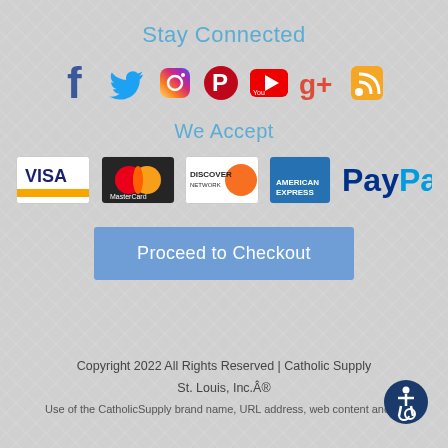Stay Connected
[Figure (illustration): Social media icons: Facebook, Twitter, Instagram, Pinterest, YouTube, Google+, RSS feed]
We Accept
[Figure (illustration): Payment method logos: Visa, MasterCard, Discover, American Express, PayPal]
Proceed to Checkout
Copyright 2022 All Rights Reserved | Catholic Supply St. Louis, Inc.Â®
Use of the CatholicSupply brand name, URL address, web content and/or
[Figure (illustration): Accessibility icon - wheelchair symbol on dark blue circular background]